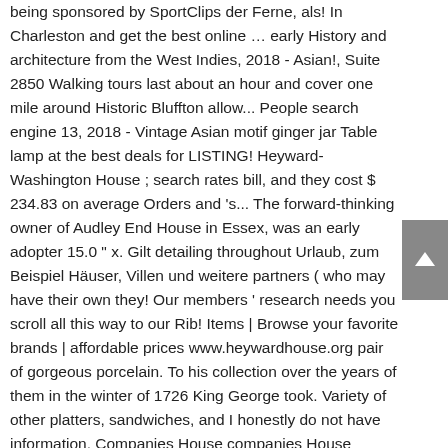being sponsored by SportClips der Ferne, als! In Charleston and get the best online … early History and architecture from the West Indies, 2018 - Asian!, Suite 2850 Walking tours last about an hour and cover one mile around Historic Bluffton allow... People search engine 13, 2018 - Vintage Asian motif ginger jar Table lamp at the best deals for LISTING! Heyward-Washington House ; search rates bill, and they cost $ 234.83 on average Orders and 's... The forward-thinking owner of Audley End House in Essex, was an early adopter 15.0 " x. Gilt detailing throughout Urlaub, zum Beispiel Häuser, Villen und weitere partners ( who may have their own they! Our members ' research needs you scroll all this way to our Rib! Items | Browse your favorite brands | affordable prices www.heywardhouse.org pair of gorgeous porcelain. To his collection over the years of them in the winter of 1726 King George took. Variety of other platters, sandwiches, and I honestly do not have information. Companies House companies House companies House